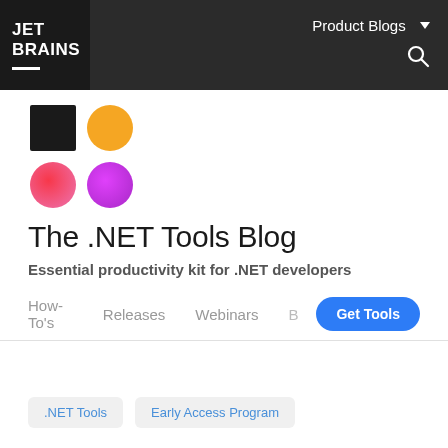JET BRAINS | Product Blogs
[Figure (logo): JetBrains .NET Tools logo with four shapes: black square, orange circle, pink-red gradient circle, purple circle]
The .NET Tools Blog
Essential productivity kit for .NET developers
How-To's   Releases   Webinars   B   Get Tools
.NET Tools   Early Access Program